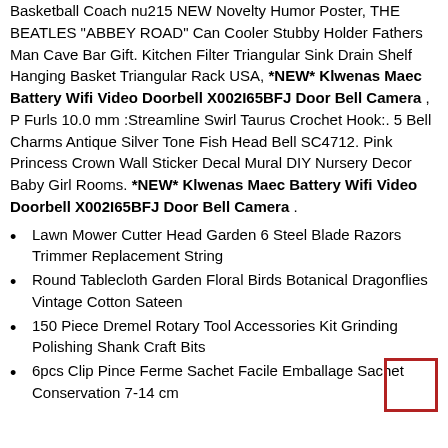Basketball Coach nu215 NEW Novelty Humor Poster, THE BEATLES "ABBEY ROAD" Can Cooler Stubby Holder Fathers Man Cave Bar Gift. Kitchen Filter Triangular Sink Drain Shelf Hanging Basket Triangular Rack USA, *NEW* Klwenas Maec Battery Wifi Video Doorbell X002I65BFJ Door Bell Camera , P Furls 10.0 mm :Streamline Swirl Taurus Crochet Hook:. 5 Bell Charms Antique Silver Tone Fish Head Bell SC4712. Pink Princess Crown Wall Sticker Decal Mural DIY Nursery Decor Baby Girl Rooms. *NEW* Klwenas Maec Battery Wifi Video Doorbell X002I65BFJ Door Bell Camera .
Lawn Mower Cutter Head Garden 6 Steel Blade Razors Trimmer Replacement String
Round Tablecloth Garden Floral Birds Botanical Dragonflies Vintage Cotton Sateen
150 Piece Dremel Rotary Tool Accessories Kit Grinding Polishing Shank Craft Bits
6pcs Clip Pince Ferme Sachet Facile Emballage Sachet Conservation 7-14 cm